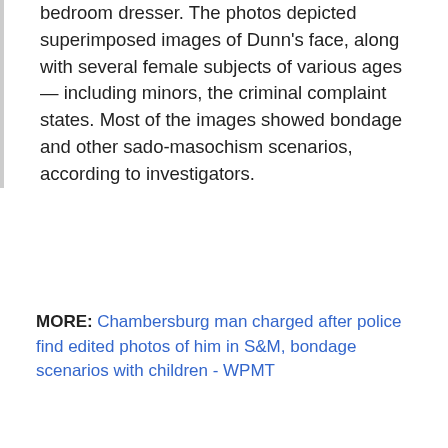bedroom dresser. The photos depicted superimposed images of Dunn's face, along with several female subjects of various ages — including minors, the criminal complaint states. Most of the images showed bondage and other sado-masochism scenarios, according to investigators.
MORE: Chambersburg man charged after police find edited photos of him in S&M, bondage scenarios with children - WPMT
#ChildPorn
#Pennsylvania
#Pornography
#WPMT
RELATED
[Figure (screenshot): Advertisement banner: #WeAreWatching FOLLOW US ON FACEBOOK with True Crime Daily logo]